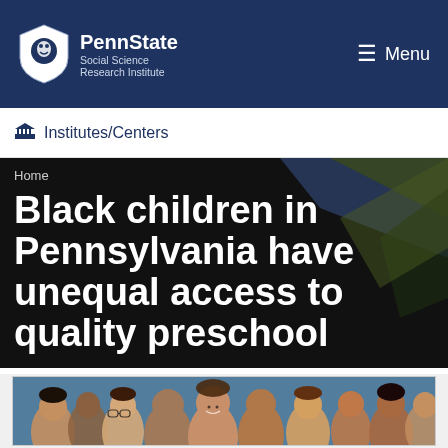PennState Social Science Research Institute | Menu
Institutes/Centers
Black children in Pennsylvania have unequal access to quality preschool
Home
[Figure (photo): Group photo of diverse school-age children smiling, photographed from the front in a classroom or group setting]